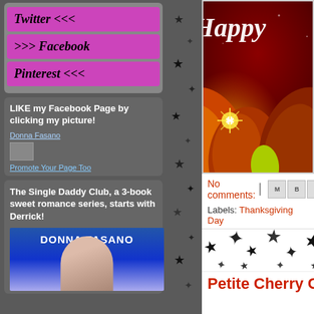[Figure (screenshot): Left sidebar with social media buttons: Twitter <<<, >>> Facebook, Pinterest <<<, all on purple/magenta background]
LIKE my Facebook Page by clicking my picture!
Donna Fasano
Promote Your Page Too
The Single Daddy Club, a 3-book sweet romance series, starts with Derrick!
[Figure (photo): Book cover for Donna Fasano novel]
[Figure (photo): Thanksgiving themed image with Happy text and autumn leaves]
No comments:
Labels: Thanksgiving Day
[Figure (illustration): Decorative star border divider]
Petite Cherry Ch